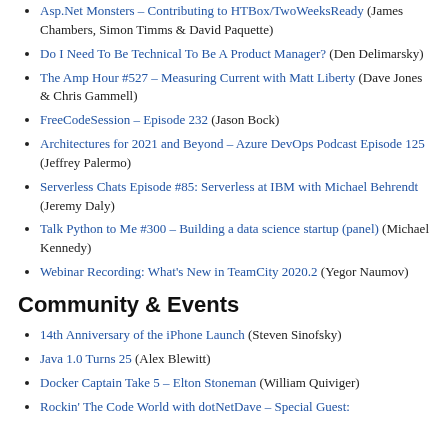Asp.Net Monsters – Contributing to HTBox/TwoWeeksReady (James Chambers, Simon Timms & David Paquette)
Do I Need To Be Technical To Be A Product Manager? (Den Delimarsky)
The Amp Hour #527 – Measuring Current with Matt Liberty (Dave Jones & Chris Gammell)
FreeCodeSession – Episode 232 (Jason Bock)
Architectures for 2021 and Beyond – Azure DevOps Podcast Episode 125 (Jeffrey Palermo)
Serverless Chats Episode #85: Serverless at IBM with Michael Behrendt (Jeremy Daly)
Talk Python to Me #300 – Building a data science startup (panel) (Michael Kennedy)
Webinar Recording: What's New in TeamCity 2020.2 (Yegor Naumov)
Community & Events
14th Anniversary of the iPhone Launch (Steven Sinofsky)
Java 1.0 Turns 25 (Alex Blewitt)
Docker Captain Take 5 – Elton Stoneman (William Quiviger)
Rockin' The Code World with dotNetDave – Special Guest: